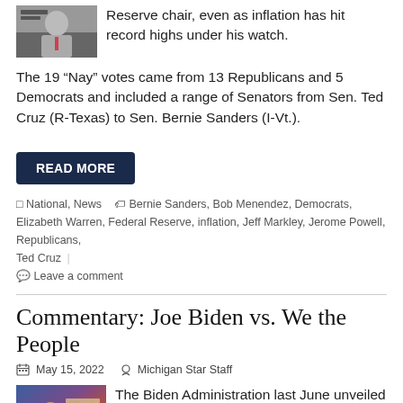Reserve chair, even as inflation has hit record highs under his watch.
The 19 “Nay” votes came from 13 Republicans and 5 Democrats and included a range of Senators from Sen. Ted Cruz (R-Texas) to Sen. Bernie Sanders (I-Vt.).
READ MORE
□ National, News  🏷 Bernie Sanders, Bob Menendez, Democrats, Elizabeth Warren, Federal Reserve, inflation, Jeff Markley, Jerome Powell, Republicans, Ted Cruz  ○ Leave a comment
Commentary: Joe Biden vs. We the People
May 15, 2022   Michigan Star Staff
The Biden Administration last June unveiled its “National Strategy for Countering Domestic Terrorism.” Despite its anodyne-sounding